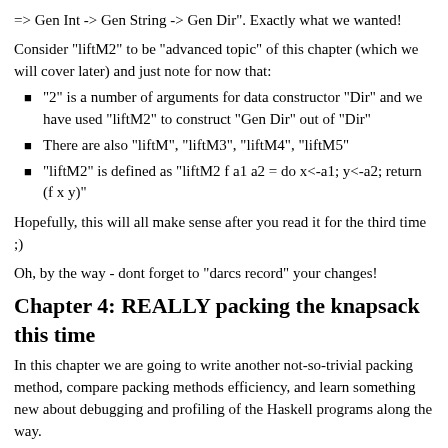=> Gen Int -> Gen String -> Gen Dir". Exactly what we wanted!
Consider "liftM2" to be "advanced topic" of this chapter (which we will cover later) and just note for now that:
"2" is a number of arguments for data constructor "Dir" and we have used "liftM2" to construct "Gen Dir" out of "Dir"
There are also "liftM", "liftM3", "liftM4", "liftM5"
"liftM2" is defined as "liftM2 f a1 a2 = do x<-a1; y<-a2; return (f x y)"
Hopefully, this will all make sense after you read it for the third time ;)
Oh, by the way - dont forget to "darcs record" your changes!
Chapter 4: REALLY packing the knapsack this time
In this chapter we are going to write another not-so-trivial packing method, compare packing methods efficiency, and learn something new about debugging and profiling of the Haskell programs along the way.